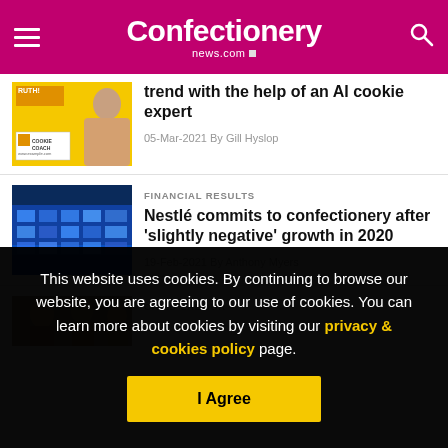Confectionery news.com
trend with the help of an AI cookie expert
05-Mar-2021 By Gill Hyslop
FINANCIAL RESULTS
Nestlé commits to confectionery after 'slightly negative' growth in 2020
19-Feb-2021 By Anthony Myers
CHILD LABOUR
This website uses cookies. By continuing to browse our website, you are agreeing to our use of cookies. You can learn more about cookies by visiting our privacy & cookies policy page.